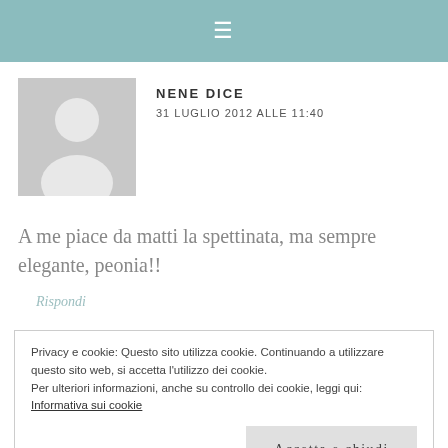≡
[Figure (illustration): Default user avatar placeholder: grey square with white silhouette of a person (head circle and shoulders)]
NENE DICE
31 LUGLIO 2012 ALLE 11:40
A me piace da matti la spettinata, ma sempre elegante, peonia!!
Rispondi
Privacy e cookie: Questo sito utilizza cookie. Continuando a utilizzare questo sito web, si accetta l'utilizzo dei cookie.
Per ulteriori informazioni, anche su controllo dei cookie, leggi qui:
Informativa sui cookie
Accetta e chiudi